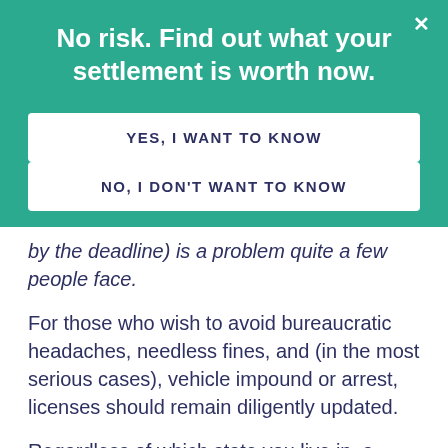No risk. Find out what your settlement is worth now.
YES, I WANT TO KNOW
NO, I DON'T WANT TO KNOW
by the deadline) is a problem quite a few people face.
For those who wish to avoid bureaucratic headaches, needless fines, and (in the most serious cases), vehicle impound or arrest, licenses should remain diligently updated.
Regardless of which state you live in, a valid driver's license is required to get behind the wheel of a car. If you've accidentally broken